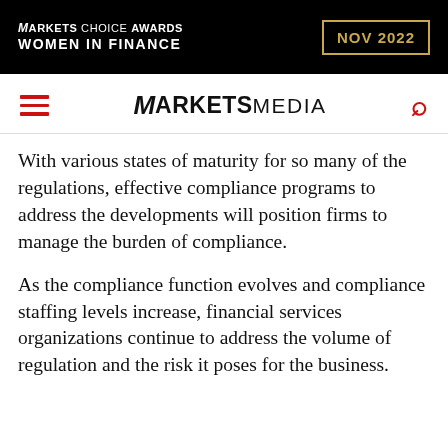[Figure (other): Markets Choice Awards Women in Finance NOV 2022 banner advertisement on black background with gold border date box]
MARKETS MEDIA
With various states of maturity for so many of the regulations, effective compliance programs to address the developments will position firms to manage the burden of compliance.
As the compliance function evolves and compliance staffing levels increase, financial services organizations continue to address the volume of regulation and the risk it poses for the business.